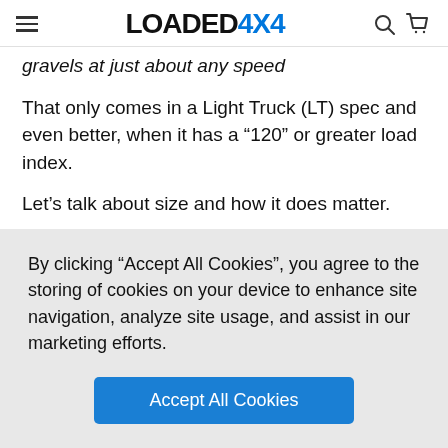LOADED4X4
gravels at just about any speed
That only comes in a Light Truck (LT) spec and even better, when it has a “120” or greater load index.
Let’s talk about size and how it does matter.
A new 4WD vehicle (like a D-MAX/MU-X, Hilux/Fortuner/Prado, Ranger/Everest,
By clicking “Accept All Cookies”, you agree to the storing of cookies on your device to enhance site navigation, analyze site usage, and assist in our marketing efforts.
Accept All Cookies